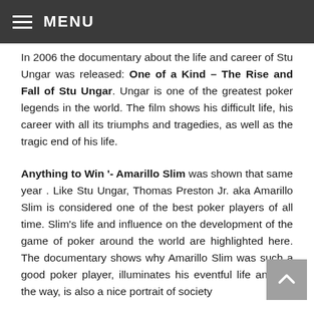MENU
In 2006 the documentary about the life and career of Stu Ungar was released: One of a Kind – The Rise and Fall of Stu Ungar. Ungar is one of the greatest poker legends in the world. The film shows his difficult life, his career with all its triumphs and tragedies, as well as the tragic end of his life.
Anything to Win '- Amarillo Slim was shown that same year. Like Stu Ungar, Thomas Preston Jr. aka Amarillo Slim is considered one of the best poker players of all time. Slim's life and influence on the development of the game of poker around the world are highlighted here. The documentary shows why Amarillo Slim was such a good poker player, illuminates his eventful life and, by the way, is also a nice portrait of society